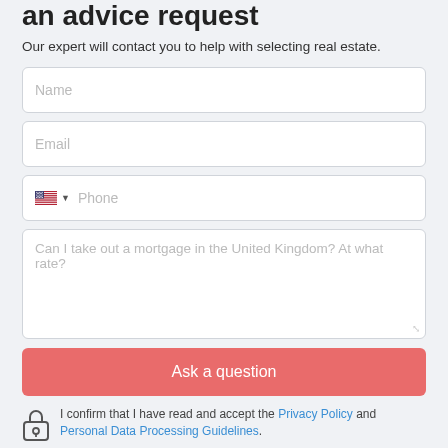an advice request
Our expert will contact you to help with selecting real estate.
Name
Email
Phone
Can I take out a mortgage in the United Kingdom? At what rate?
Ask a question
I confirm that I have read and accept the Privacy Policy and Personal Data Processing Guidelines.